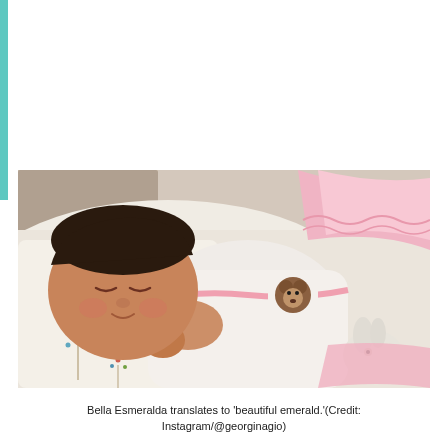[Figure (photo): A newborn baby girl sleeping, wearing a white and pink Moschino onesie with a bear logo, lying on a white blanket with floral embroidery, next to a small stuffed animal toy. The baby has dark hair and appears to be smiling slightly.]
Bella Esmeralda translates to 'beautiful emerald.'(Credit: Instagram/@georginagio)